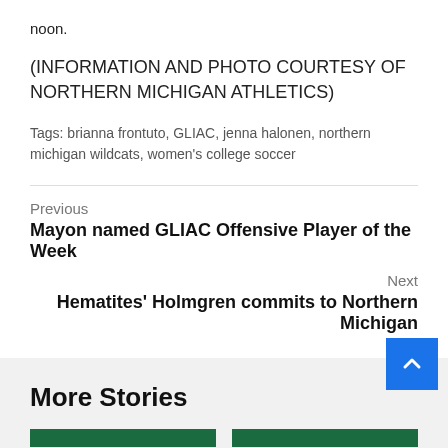noon.
(INFORMATION AND PHOTO COURTESY OF NORTHERN MICHIGAN ATHLETICS)
Tags: brianna frontuto, GLIAC, jenna halonen, northern michigan wildcats, women's college soccer
Previous
Mayon named GLIAC Offensive Player of the Week
Next
Hematites' Holmgren commits to Northern Michigan
More Stories